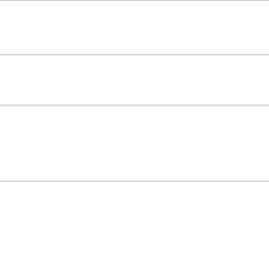| Name | Link | Description |
| --- | --- | --- |
|  |  | Comp… |
| GCPy | gcpy.readthedocs.io | The G… Chem… Toolki… |
| KPP-for-GEOS-Chem | kpp.readthedocs.io | The K… PrePr… (KPP)… custo… GEOS-… |
| GEOS-Chem Adjoint | GEOS-Chem Adjoint (wiki page) | The G… Chem… mode… (NOT… maint… separ… from G… Chem… |
| GEOS-… | youtube.com/c/geos-… | Tutori… |